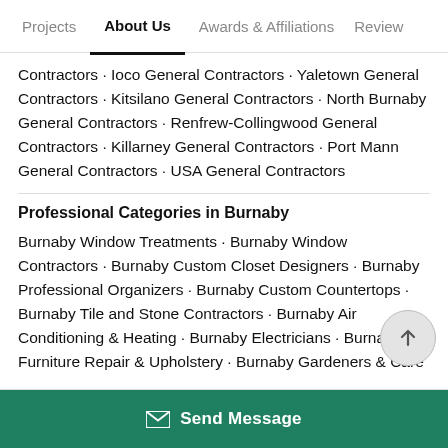Projects  About Us  Awards & Affiliations  Review
Contractors · Ioco General Contractors · Yaletown General Contractors · Kitsilano General Contractors · North Burnaby General Contractors · Renfrew-Collingwood General Contractors · Killarney General Contractors · Port Mann General Contractors · USA General Contractors
Professional Categories in Burnaby
Burnaby Window Treatments · Burnaby Window Contractors · Burnaby Custom Closet Designers · Burnaby Professional Organizers · Burnaby Custom Countertops · Burnaby Tile and Stone Contractors · Burnaby Air Conditioning & Heating · Burnaby Electricians · Burnaby Furniture Repair & Upholstery · Burnaby Gardeners & Care
Send Message